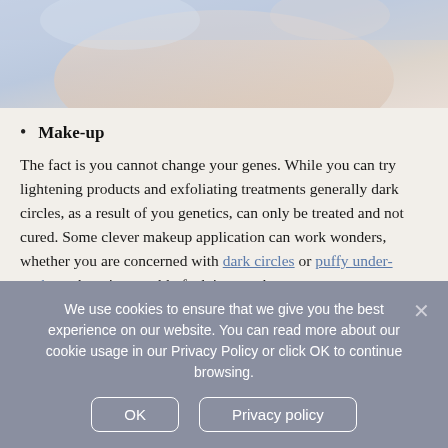[Figure (photo): Medical/skincare photo showing a person receiving a facial treatment, with gloved hands visible, soft purple and skin-tone background.]
Make-up
The fact is you cannot change your genes. While you can try lightening products and exfoliating treatments generally dark circles, as a result of you genetics, can only be treated and not cured. Some clever makeup application can work wonders, whether you are concerned with dark circles or puffy under-eyebags there is a world of advice out there.
You may also want to consider using a cold compress for five minutes before applying your makeup; this constricts blood vessels and prevents further dark circles. Just remember, makeup washes off, so if it doesn't quite work first time around just try again until you're happy.
We use cookies to ensure that we give you the best experience on our website. You can read more about our cookie usage in our Privacy Policy or click OK to continue browsing.